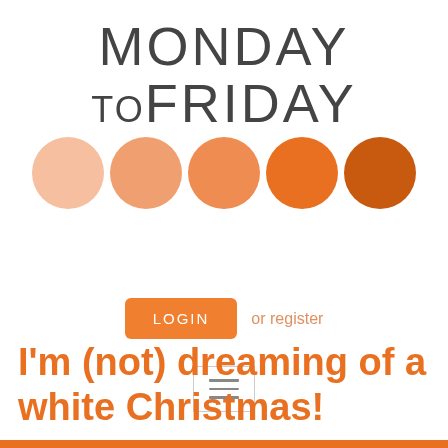[Figure (logo): Monday to Friday logo with large sans-serif text 'MONDAY ToFRIDAY' in dark gray, followed by a row of five overlapping circles in gradient shades from light peach to dark orange]
[Figure (screenshot): LOGIN button (orange, rounded rectangle) and 'or register' text link, plus a hamburger menu icon (three horizontal lines inside a light bordered box)]
I'm (not) dreaming of a white Christmas!
[Figure (other): Orange horizontal bar at the bottom of the page]